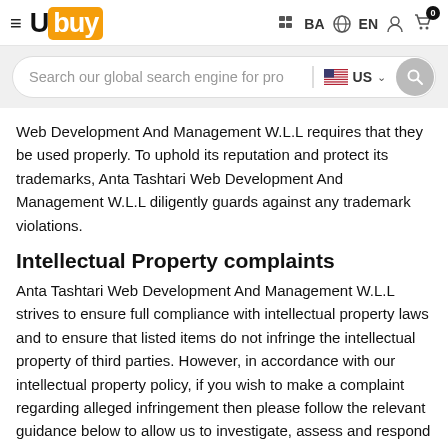Ubuy — BA  EN  [user icon] [cart 0]
Search our global search engine for pro  US
Web Development And Management W.L.L requires that they be used properly. To uphold its reputation and protect its trademarks, Anta Tashtari Web Development And Management W.L.L diligently guards against any trademark violations.
Intellectual Property complaints
Anta Tashtari Web Development And Management W.L.L strives to ensure full compliance with intellectual property laws and to ensure that listed items do not infringe the intellectual property of third parties. However, in accordance with our intellectual property policy, if you wish to make a complaint regarding alleged infringement then please follow the relevant guidance below to allow us to investigate, assess and respond to your complaint.
Trademark complaint
1. Report your trademark complaint in writing and identify any